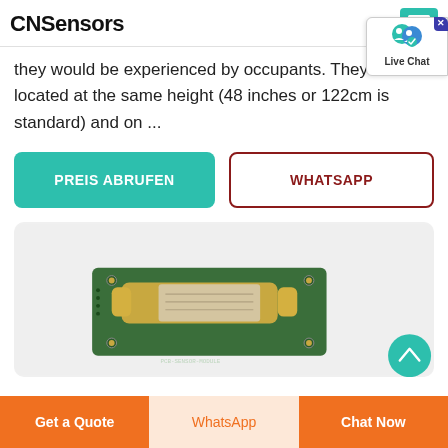CNSensors
they would be experienced by occupants. They can be located at the same height (48 inches or 122cm is standard) and on ...
PREIS ABRUFEN
WHATSAPP
[Figure (photo): Close-up photo of a gold-plated electronic sensor module mounted on a green PCB circuit board, with visible screw holes and a beige label/tape on the component.]
Get a Quote | WhatsApp | Chat Now